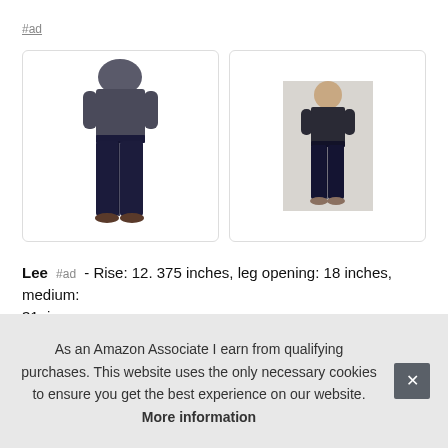#ad
[Figure (photo): Back view of a person wearing dark navy blue jeans and a grey t-shirt]
[Figure (photo): Front/side view of a person wearing dark navy blue jeans and a dark top]
Lee #ad - Rise: 12. 375 inches, leg opening: 18 inches, medium: 31, i leg. med
As an Amazon Associate I earn from qualifying purchases. This website uses the only necessary cookies to ensure you get the best experience on our website. More information